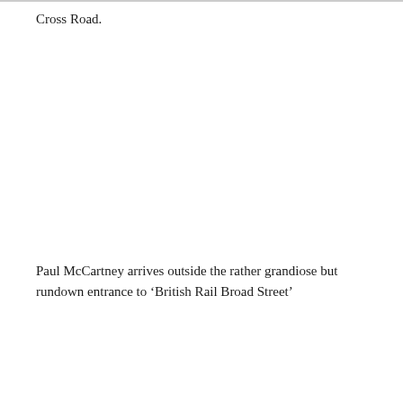Cross Road.
Paul McCartney arrives outside the rather grandiose but rundown entrance to ‘British Rail Broad Street’